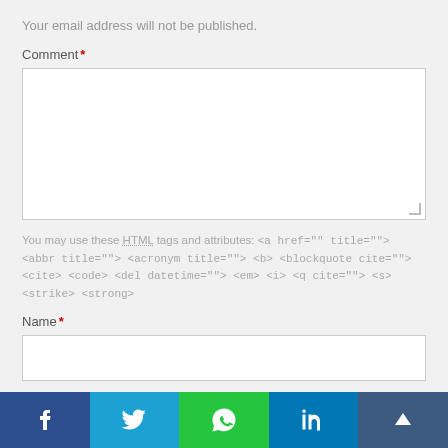Your email address will not be published.
Comment *
[Figure (screenshot): Empty comment textarea input field]
You may use these HTML tags and attributes: <a href="" title=""> <abbr title=""> <acronym title=""> <b> <blockquote cite=""> <cite> <code> <del datetime=""> <em> <i> <q cite=""> <s> <strike> <strong>
Name *
[Figure (screenshot): Empty name input field]
Email *
[Figure (screenshot): Empty email input field]
[Figure (infographic): Social share bar with Facebook, Twitter, WhatsApp, LinkedIn, and scroll-to-top buttons]